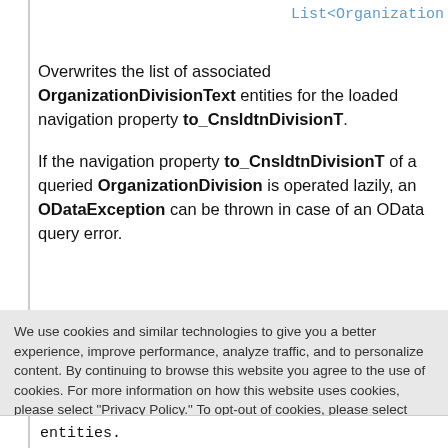List<Organization
Overwrites the list of associated OrganizationDivisionText entities for the loaded navigation property to_CnsldtnDivisionT.

If the navigation property to_CnsldtnDivisionT of a queried OrganizationDivision is operated lazily, an ODataException can be thrown in case of an OData query error.
We use cookies and similar technologies to give you a better experience, improve performance, analyze traffic, and to personalize content. By continuing to browse this website you agree to the use of cookies. For more information on how this website uses cookies, please select "Privacy Policy." To opt-out of cookies, please select "More Information."
Accept Cookies
More Information
Privacy Policy | Powered by: TrustArc
entities.